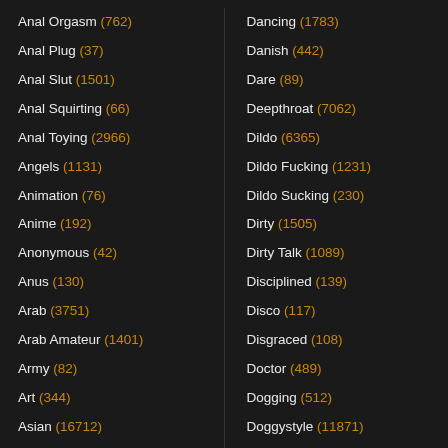Anal Orgasm (762)
Anal Plug (37)
Anal Slut (1501)
Anal Squirting (66)
Anal Toying (2966)
Angels (1131)
Animation (76)
Anime (192)
Anonymous (42)
Anus (130)
Arab (3751)
Arab Amateur (1401)
Army (82)
Art (344)
Asian (16712)
Asian Amateur (5891)
Dancing (1783)
Danish (442)
Dare (89)
Deepthroat (7062)
Dildo (6365)
Dildo Fucking (1231)
Dildo Sucking (230)
Dirty (1505)
Dirty Talk (1089)
Disciplined (139)
Disco (117)
Disgraced (108)
Doctor (489)
Dogging (512)
Doggystyle (11871)
Doll (408)